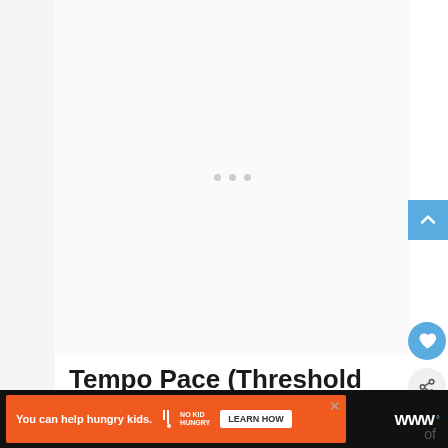[Figure (other): Loading placeholder area with three gray dots centered in a light gray rectangle]
Tempo Pace (Threshold Pace)
[Figure (other): Blue scroll-to-top button with upward chevron arrow]
[Figure (other): Blue circular heart/favorite button]
[Figure (other): Light gray circular share button with share icon]
[Figure (other): Advertisement bar: orange background with No Kid Hungry branding, Learn How button, close X, and Weatherbug logo on dark background]